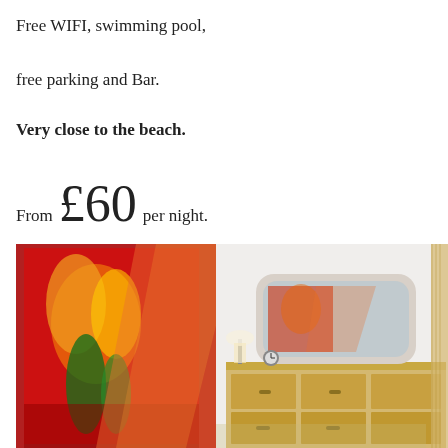Free WIFI, swimming pool,
free parking and Bar.
Very close to the beach.
From £60 per night.
[Figure (photo): Hotel room interior with colorful red and orange floral wall art, sheer orange curtains, a wicker dresser with mirror, and a small lamp on a table.]